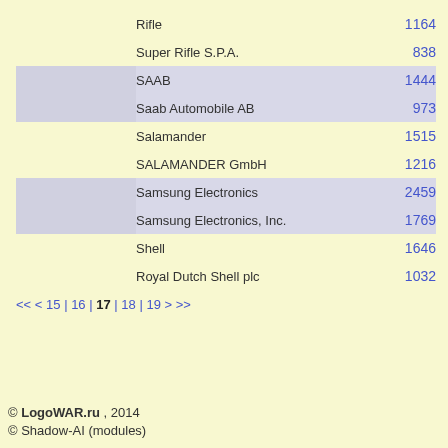| Logo1 | Logo2 | Name | Count |
| --- | --- | --- | --- |
|  |  | Rifle | 1164 |
|  |  | Super Rifle S.P.A. | 838 |
| [img] | [img] | SAAB | 1444 |
| [img] | [img] | Saab Automobile AB | 973 |
|  |  | Salamander | 1515 |
|  |  | SALAMANDER GmbH | 1216 |
| [img] | [img] | Samsung Electronics | 2459 |
| [img] | [img] | Samsung Electronics, Inc. | 1769 |
|  |  | Shell | 1646 |
|  |  | Royal Dutch Shell plc | 1032 |
<< < 15 | 16 | 17 | 18 | 19 > >>
© LogoWAR.ru , 2014
© Shadow-AI (modules)